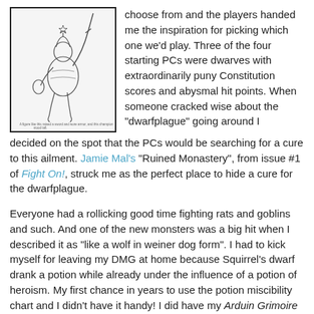[Figure (illustration): Black and white pen illustration of a warrior/knight figure holding a sword aloft, with some small text caption at the bottom of the image, inside a black border frame.]
choose from and the players handed me the inspiration for picking which one we'd play. Three of the four starting PCs were dwarves with extraordinarily puny Constitution scores and abysmal hit points. When someone cracked wise about the "dwarfplague" going around I decided on the spot that the PCs would be searching for a cure to this ailment. Jamie Mal's "Ruined Monastery", from issue #1 of Fight On!, struck me as the perfect place to hide a cure for the dwarfplague.
Everyone had a rollicking good time fighting rats and goblins and such. And one of the new monsters was a big hit when I described it as "like a wolf in weiner dog form". I had to kick myself for leaving my DMG at home because Squirrel's dwarf drank a potion while already under the influence of a potion of heroism. My first chance in years to use the potion miscibility chart and I didn't have it handy! I did have my Arduin Grimoire handy, so we were able to enjoy a good pratfall fumble and also Dave's hobbit totally wrecked the master villain with arrow through his wrist. Ouch!